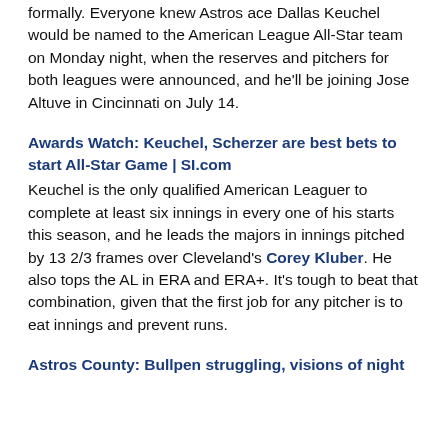formally. Everyone knew Astros ace Dallas Keuchel would be named to the American League All-Star team on Monday night, when the reserves and pitchers for both leagues were announced, and he'll be joining Jose Altuve in Cincinnati on July 14.
Awards Watch: Keuchel, Scherzer are best bets to start All-Star Game | SI.com
Keuchel is the only qualified American Leaguer to complete at least six innings in every one of his starts this season, and he leads the majors in innings pitched by 13 2/3 frames over Cleveland's Corey Kluber. He also tops the AL in ERA and ERA+. It's tough to beat that combination, given that the first job for any pitcher is to eat innings and prevent runs.
Astros County: Bullpen struggling, visions of night